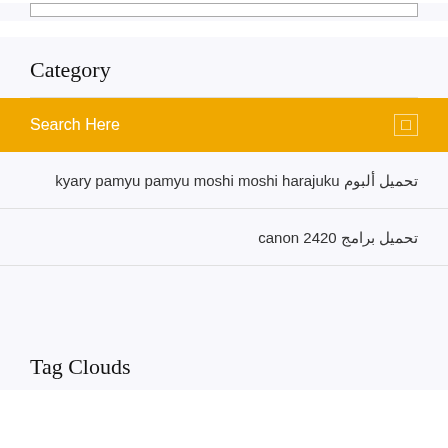[Figure (screenshot): Top section showing a bordered box (partially visible) on light background]
Category
Search Here
تحميل ألبوم kyary pamyu pamyu moshi moshi harajuku
تحميل برامج canon 2420
Tag Clouds